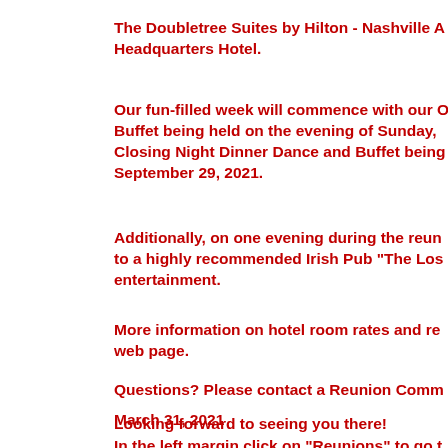The Doubletree Suites by Hilton - Nashville A... Headquarters Hotel.
Our fun-filled week will commence with our O... Buffet being held on the evening of Sunday,... Closing Night Dinner Dance and Buffet being... September 29, 2021.
Additionally, on one evening during the reun... to a highly recommended Irish Pub "The Los... entertainment.
More information on hotel room rates and re... web page.
Questions? Please contact a Reunion Comm...
Looking forward to seeing you there!
In the left margin click on "Reunions" to go t... item highlighted in "yellow" 2021 Reunion fo...
March 31, 2021